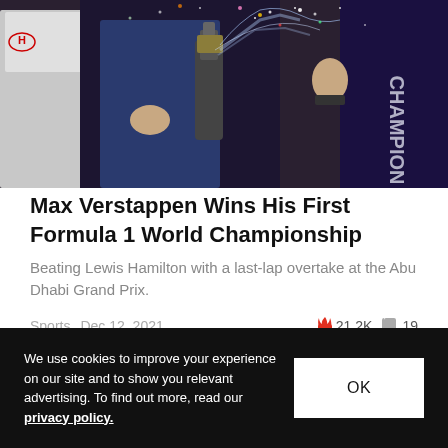[Figure (photo): Celebration scene showing people spraying champagne, with confetti. A word 'CHAMPION' is partially visible on the right side. Honda logo visible on left. People in racing/sports attire.]
Max Verstappen Wins His First Formula 1 World Championship
Beating Lewis Hamilton with a last-lap overtake at the Abu Dhabi Grand Prix.
Sports  Dec 12, 2021  🔥 21.2K  💬 19
We use cookies to improve your experience on our site and to show you relevant advertising. To find out more, read our privacy policy.